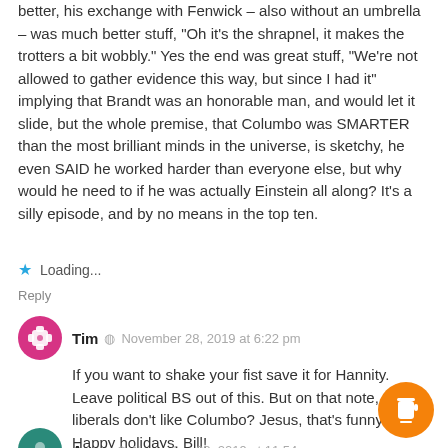better, his exchange with Fenwick – also without an umbrella – was much better stuff, "Oh it's the shrapnel, it makes the trotters a bit wobbly." Yes the end was great stuff, "We're not allowed to gather evidence this way, but since I had it" implying that Brandt was an honorable man, and would let it slide, but the whole premise, that Columbo was SMARTER than the most brilliant minds in the universe, is sketchy, he even SAID he worked harder than everyone else, but why would he need to if he was actually Einstein all along? It's a silly episode, and by no means in the top ten.
Loading...
Reply
Tim · November 28, 2019 at 6:22 pm
If you want to shake your fist save it for Hannity. Leave political BS out of this. But on that note, liberals don't like Columbo? Jesus, that's funny. Happy holidays, Bill!
Loading...
Reply
Anne · November 28, 2019 at 11:54 pm